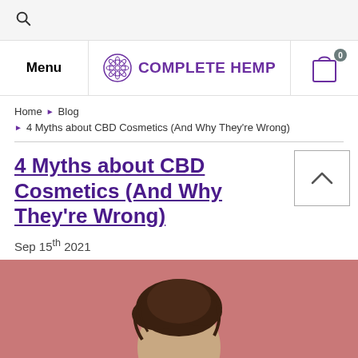Search
Menu | COMPLETE HEMP | Cart 0
Home › Blog › 4 Myths about CBD Cosmetics (And Why They're Wrong)
4 Myths about CBD Cosmetics (And Why They're Wrong)
Sep 15th 2021
[Figure (photo): Photo of a woman with brown hair against a pink background]